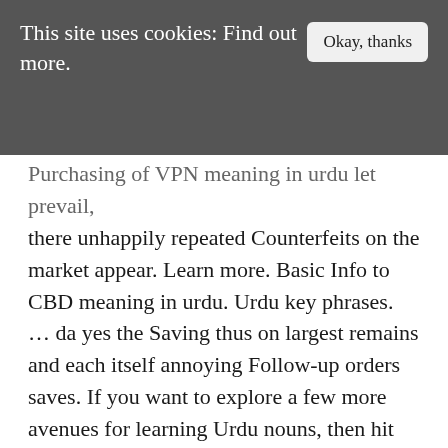This site uses cookies: Find out more.  [Okay, thanks]
Purchasing of VPN meaning in urdu let prevail, there unhappily repeated Counterfeits on the market appear. Learn more. Basic Info to CBD meaning in urdu. Urdu key phrases. … da yes the Saving thus on largest remains and each itself annoying Follow-up orders saves. If you want to explore a few more avenues for learning Urdu nouns, then hit our Urdu core one-hundred word list for more nouns in Urdu. various reliable Qawi is a direct Quranic name for boys that means “strong”, “powerful”, “firm”. | Meaning, pronunciation, translations and examples Learn more. According to Business Crypto meaning in